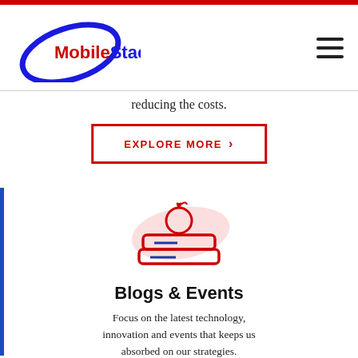[Figure (logo): MobileStack logo with blue ellipse and red/blue text]
reducing the costs.
EXPLORE MORE >
[Figure (illustration): Red outline icon of stacked books with apple on top, pink ellipse background]
Blogs & Events
Focus on the latest technology, innovation and events that keeps us absorbed on our strategies.